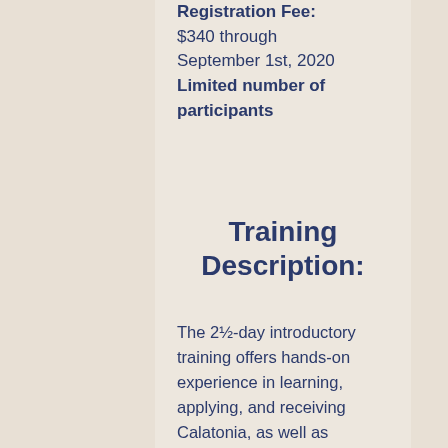Early Bird Registration Fee: $340 through September 1st, 2020 Limited number of participants
Training Description:
The 2½-day introductory training offers hands-on experience in learning, applying, and receiving Calatonia, as well as theoretical information about the history and